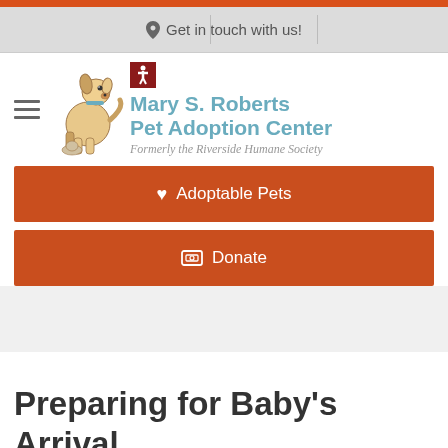Get in touch with us!
[Figure (logo): Mary S. Roberts Pet Adoption Center logo with dog illustration and text: Mary S. Roberts Pet Adoption Center, Formerly the Riverside Humane Society]
♥ Adoptable Pets
⊡ Donate
Preparing for Baby's Arrival